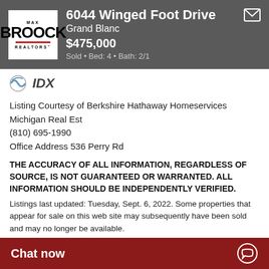6044 Winged Foot Drive Grand Blanc $475,000 Sold • Bed: 4 • Bath: 2/1
[Figure (logo): IDX logo — stylized globe arc with IDX text]
Listing Courtesy of Berkshire Hathaway Homeservices Michigan Real Est
(810) 695-1990
Office Address 536 Perry Rd
THE ACCURACY OF ALL INFORMATION, REGARDLESS OF SOURCE, IS NOT GUARANTEED OR WARRANTED. ALL INFORMATION SHOULD BE INDEPENDENTLY VERIFIED.
Listings last updated: Tuesday, Sept. 6, 2022. Some properties that appear for sale on this web site may subsequently have been sold and may no longer be available.
Our Michigan real estate agents can answer all of your questions about 6044 Winged Foot Drive, Grand Blanc MI 48439. Real Estate One, Max Broock Realtors, and J&J Rea of Companies and dominate market. To sell or buy a home